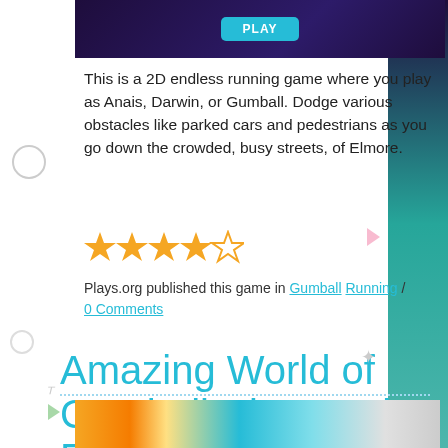[Figure (screenshot): Top portion of a game screenshot with dark purple/space background and a teal play button]
This is a 2D endless running game where you play as Anais, Darwin, or Gumball. Dodge various obstacles like parked cars and pedestrians as you go down the crowded, busy streets, of Elmore.
[Figure (other): 4 out of 5 orange star rating]
Plays.org published this game in Gumball Running / 0 Comments
Amazing World of Gumball Disc Duel: Frisbee Pong Game
[Figure (screenshot): Bottom strip of a game screenshot showing colorful game imagery]